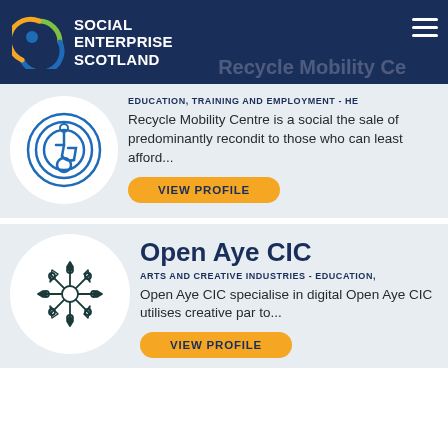Social Enterprise Scotland
Recycle Mobility Ce
[Figure (logo): Circular wheelchair accessibility icon in blue outline on white circle background]
EDUCATION, TRAINING AND EMPLOYMENT - HE
Recycle Mobility Centre is a social the sale of predominantly recondit to those who can least afford...
VIEW PROFILE
[Figure (logo): Decorative mandala/snowflake pattern icon in dark teal on white circle background — Open Aye CIC logo]
Open Aye CIC
ARTS AND CREATIVE INDUSTRIES - EDUCATION,
Open Aye CIC specialise in digital Open Aye CIC utilises creative par to...
VIEW PROFILE